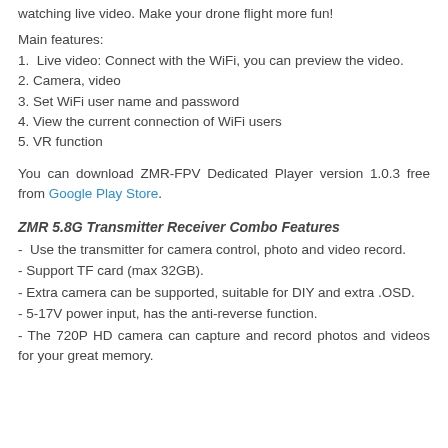watching live video. Make your drone flight more fun!
Main features:
1.  Live video: Connect with the WiFi, you can preview the video.
2. Camera, video
3. Set WiFi user name and password
4. View the current connection of WiFi users
5. VR function
You can download ZMR-FPV Dedicated Player version 1.0.3 free from Google Play Store.
ZMR 5.8G Transmitter Receiver Combo Features
- Use the transmitter for camera control, photo and video record.
- Support TF card (max 32GB).
- Extra camera can be supported, suitable for DIY and extra .OSD.
- 5-17V power input, has the anti-reverse function.
- The 720P HD camera can capture and record photos and videos for your great memory.